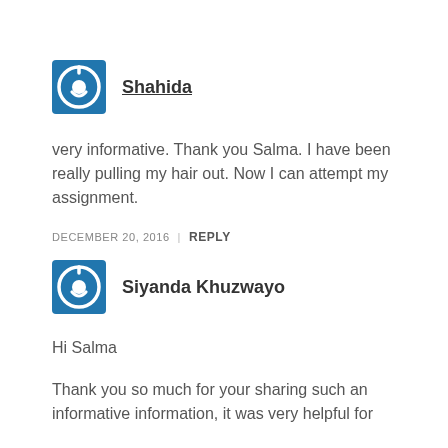Shahida
very informative. Thank you Salma. I have been really pulling my hair out. Now I can attempt my assignment.
DECEMBER 20, 2016 | REPLY
Siyanda Khuzwayo
Hi Salma
Thank you so much for your sharing such an informative information, it was very helpful for